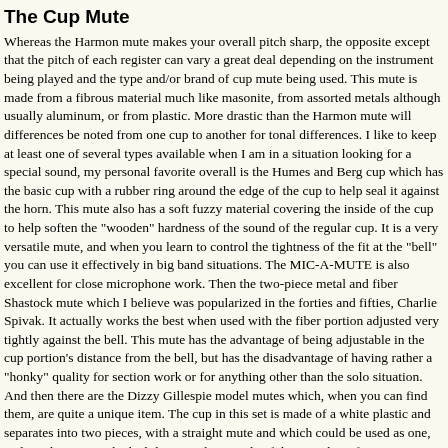The Cup Mute
Whereas the Harmon mute makes your overall pitch sharp, the opposite except that the pitch of each register can vary a great deal depending on the instrument being played and the type and/or brand of cup mute being used. This mute is made from a fibrous material much like masonite, from assorted metals although usually aluminum, or from plastic. More drastic than the Harmon mute will differences be noted from one cup to another for tonal differences. I like to keep at least one of several types available when I am in a situation looking for a special sound, my personal favorite overall is the Humes and Berg cup which has the basic cup with a rubber ring around the edge of the cup to help seal it against the horn. This mute also has a soft fuzzy material covering the inside of the cup to help soften the "wooden" hardness of the sound of the regular cup. It is a very versatile mute, and when you learn to control the tightness of the fit at the "bell" you can use it effectively in big band situations. The MIC-A-MUTE is also excellent for close microphone work. Then the two-piece metal and fiber Shastock mute which I believe was popularized in the forties and fifties, Charlie Spivak. It actually works the best when used with the fiber portion adjusted very tightly against the bell. This mute has the advantage of being adjustable in the cup portion's distance from the bell, but has the disadvantage of having rather a "honky" quality for section work or for anything other than the solo situation. And then there are the Dizzy Gillespie model mutes which, when you can find them, are quite a unique item. The cup in this set is made of a white plastic and separates into two pieces, with a straight mute and which could be used as one, and another piece which slides over the outside of the straight to form a cup. It has a surprisingly good sound for section work, a quality which makes the metal mute undesirable, and although not as versatile has a pleasant overall sound and fairly respectable intonation. Speaki